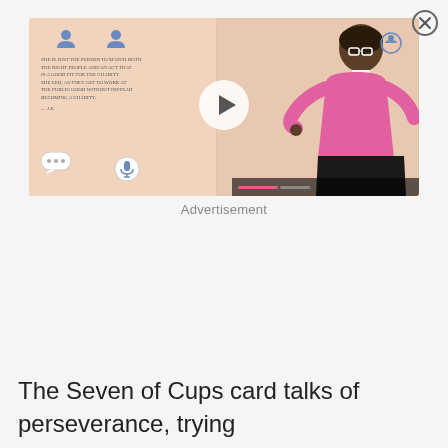[Figure (screenshot): Advertisement video thumbnail showing an animated illustration of a woman in a pink top and black skirt pointing at text. The background is a peach/salmon color. There are speech bubble icons, person icons, and a play button overlay in the center. Text on the thumbnail is partially visible.]
Advertisement
The Seven of Cups card talks of perseverance, trying